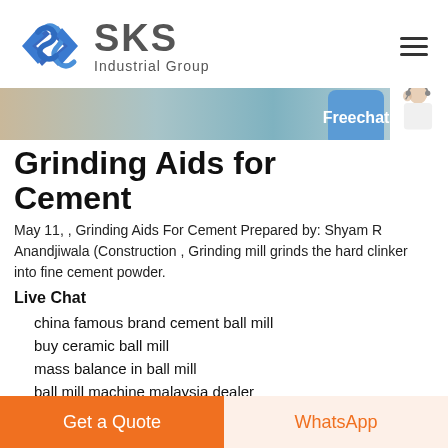[Figure (logo): SKS Industrial Group logo with blue angular S symbol and grey SKS text with Industrial Group subtitle]
[Figure (photo): Banner image of industrial/construction scene with a person wearing headset on the right side]
Grinding Aids for Cement
May 11, , Grinding Aids For Cement Prepared by: Shyam R Anandjiwala (Construction , Grinding mill grinds the hard clinker into fine cement powder.
Live Chat
china famous brand cement ball mill
buy ceramic ball mill
mass balance in ball mill
ball mill machine malaysia dealer
Get a Quote
WhatsApp